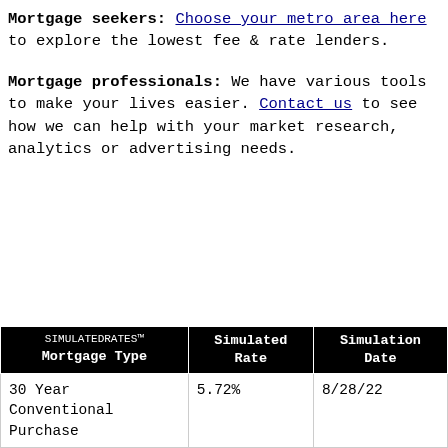Mortgage seekers: Choose your metro area here to explore the lowest fee & rate lenders.
Mortgage professionals: We have various tools to make your lives easier. Contact us to see how we can help with your market research, analytics or advertising needs.
| SIMULATEDRATES™ Mortgage Type | Simulated Rate | Simulation Date |
| --- | --- | --- |
| 30 Year Conventional Purchase | 5.72% | 8/28/22 |